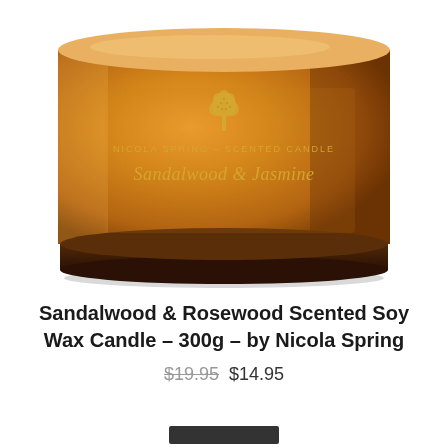[Figure (photo): Amber glass jar candle with gold tree logo and script text reading 'NICOLA SPRING – SCENTED CANDLE' and 'Sandalwood & Jasmine' on the label. The jar is a warm amber/orange color with a dark base.]
Sandalwood & Rosewood Scented Soy Wax Candle – 300g – by Nicola Spring
$19.95  $14.95